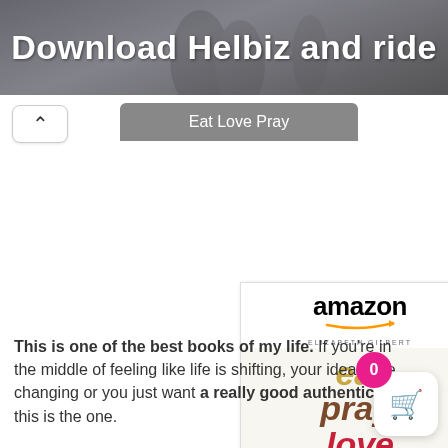[Figure (screenshot): Banner image with text 'Download Helbiz and ride' over a blurred street/people background]
Download Helbiz and ride
[Figure (screenshot): Amazon advertisement card for 'Eat, Pray, Love: One Woman's...' book by Elizabeth Gilbert showing Amazon logo, book cover art with stylized eat/pray/love text, price $9.49 with Prime badge, and Shop now button]
This is one of the best books of my life. If you're in the middle of feeling like life is shifting, your ideals are changing or you just want a really good authentic this is the one.